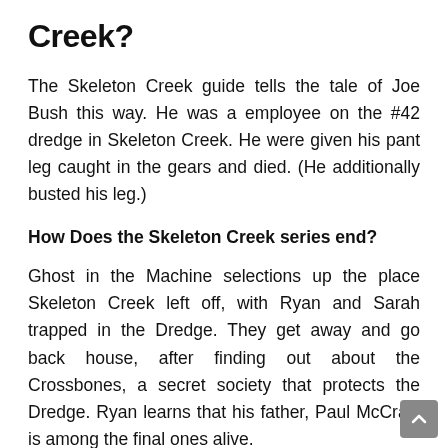Creek?
The Skeleton Creek guide tells the tale of Joe Bush this way. He was a employee on the #42 dredge in Skeleton Creek. He were given his pant leg caught in the gears and died. (He additionally busted his leg.)
How Does the Skeleton Creek series end?
Ghost in the Machine selections up the place Skeleton Creek left off, with Ryan and Sarah trapped in the Dredge. They get away and go back house, after finding out about the Crossbones, a secret society that protects the Dredge. Ryan learns that his father, Paul McCray, is among the final ones alive.
Is Skeleton Creek a real story?